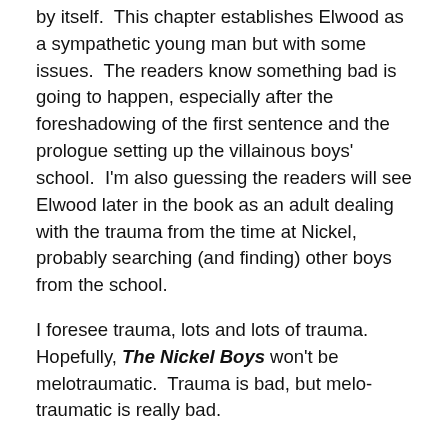by itself.  This chapter establishes Elwood as a sympathetic young man but with some issues.  The readers know something bad is going to happen, especially after the foreshadowing of the first sentence and the prologue setting up the villainous boys' school.  I'm also guessing the readers will see Elwood later in the book as an adult dealing with the trauma from the time at Nickel, probably searching (and finding) other boys from the school.
I foresee trauma, lots and lots of trauma.  Hopefully, The Nickel Boys won't be melotraumatic.  Trauma is bad, but melo-traumatic is really bad.
The Nickel Boys so far doesn't read like literary fiction.  A lot of literary authors seem to try too hard by writing overly complicated sentences and overusing stream-of-consciousness.  Colson Whitehead hasn't done this yet.  It